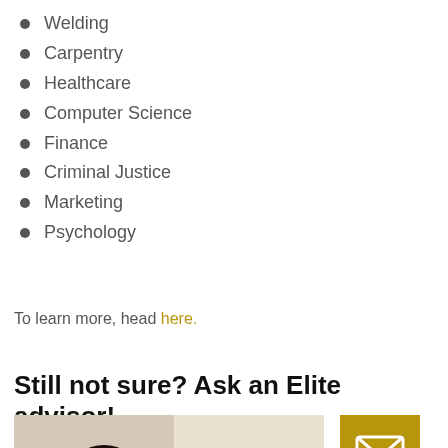Welding
Carpentry
Healthcare
Computer Science
Finance
Criminal Justice
Marketing
Psychology
To learn more, head here.
Still not sure? Ask an Elite advisor!
[Figure (photo): Photo of a woman advisor smiling, with a gold email/envelope icon button in the bottom right]